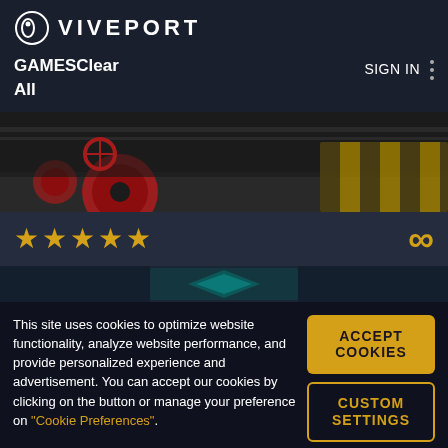VIVEPORT
GAMESClear All
SIGN IN
[Figure (photo): Industrial/warehouse scene banner with red wheels, machinery, and yellow hazard barrier]
[Figure (infographic): Star rating row showing 4-5 gold stars and an infinity symbol on dark background]
[Figure (photo): Partial banner strip showing a blue diamond-patterned structure]
This site uses cookies to optimize website functionality, analyze website performance, and provide personalized experience and advertisement. You can accept our cookies by clicking on the button or manage your preference on "Cookie Preferences".
ACCEPT COOKIES
CUSTOM SETTINGS